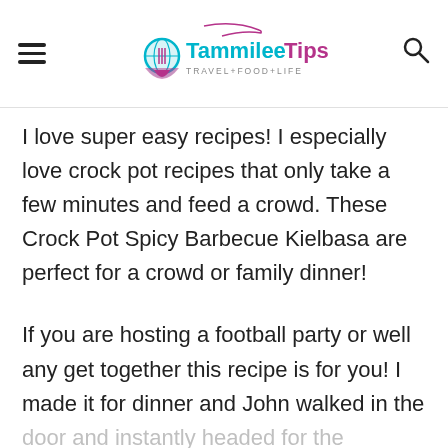Tammilee Tips — TRAVEL+FOOD+LIFE
I love super easy recipes! I especially love crock pot recipes that only take a few minutes and feed a crowd. These Crock Pot Spicy Barbecue Kielbasa are perfect for a crowd or family dinner!
If you are hosting a football party or well any get together this recipe is for you! I made it for dinner and John walked in the door and instantly headed for the crockpot. This is one of those recipes that